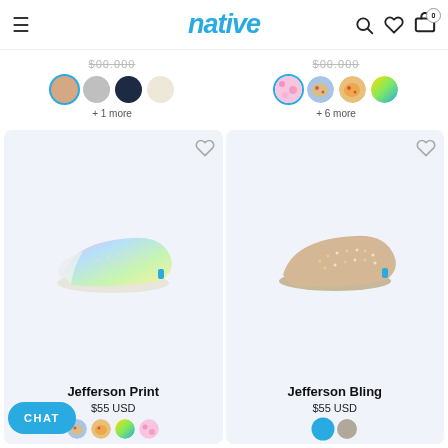native — header with hamburger menu, search, wishlist, and cart icons
[Figure (screenshot): Color swatches for two products at top. Left group: 4 circles (tan/selected with blue ring, gray, navy, cream) + '+1 more'. Right group: 4 circles (pink pattern, pizza print, pizza print orange, rainbow) + '+6 more']
[Figure (photo): Jefferson Print shoe — rainbow gradient perforated slip-on shoe on light blue background]
Jefferson Print
$55 USD
[Figure (photo): Jefferson Bling shoe — gold glitter perforated slip-on shoe on light blue background]
Jefferson Bling
$55 USD